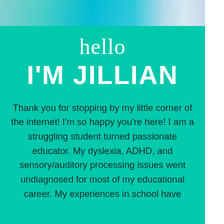[Figure (photo): Top banner image area showing a blurred teal/aqua colored background with a purple/violet accent in the top right corner]
hello
I'M JILLIAN
Thank you for stopping by my little corner of the internet! I'm so happy you're here! I am a struggling student turned passionate educator. My dyslexia, ADHD, and sensory/auditory processing issues went undiagnosed for most of my educational career. My experiences in school have